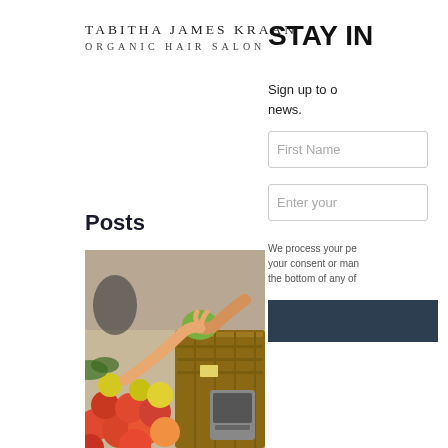TABITHA JAMES KRAAN
ORGANIC HAIR SALON
STAY IN
Sign up to our news.
Posts
[Figure (photo): A person handing a green apple over a wooden crate at a farmers market, with red and orange fruits in the foreground and people in the background.]
First Name
Enter your
We process your pe your consent or man the bottom of any of
[Figure (other): Dark navy/charcoal button area for STAY IN submission]